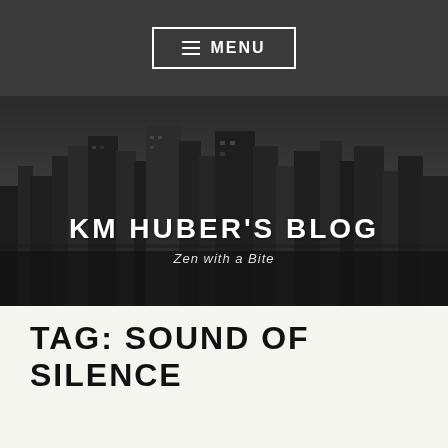≡ MENU
[Figure (photo): Black and white aerial cityscape/skyline photo used as hero banner background, with tall skyscrapers and city buildings.]
KM HUBER'S BLOG
Zen with a Bite
TAG: SOUND OF SILENCE